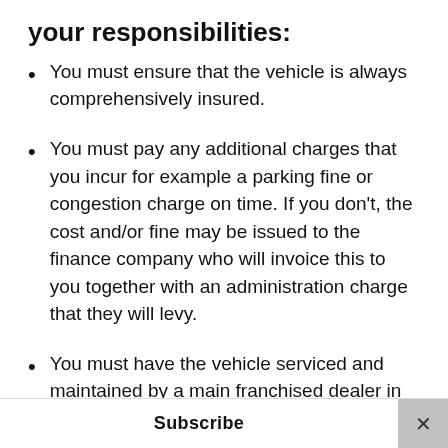your responsibilities:
You must ensure that the vehicle is always comprehensively insured.
You must pay any additional charges that you incur for example a parking fine or congestion charge on time. If you don't, the cost and/or fine may be issued to the finance company who will invoice this to you together with an administration charge that they will levy.
You must have the vehicle serviced and maintained by a main franchised dealer in accordance with the manufacturer's
Subscribe ×